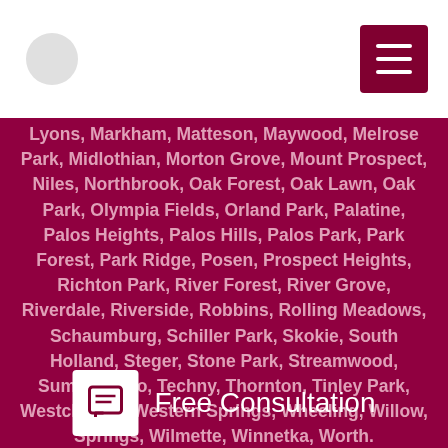Lyons, Markham, Matteson, Maywood, Melrose Park, Midlothian, Morton Grove, Mount Prospect, Niles, Northbrook, Oak Forest, Oak Lawn, Oak Park, Olympia Fields, Orland Park, Palatine, Palos Heights, Palos Hills, Palos Park, Park Forest, Park Ridge, Posen, Prospect Heights, Richton Park, River Forest, River Grove, Riverdale, Riverside, Robbins, Rolling Meadows, Schaumburg, Schiller Park, Skokie, South Holland, Steger, Stone Park, Streamwood, Summit Argo, Techny, Thornton, Tinley Park, Westchester, Western Springs, Wheeling, Willow, Springs, Wilmette, Winnetka, Worth.
Free Consultation